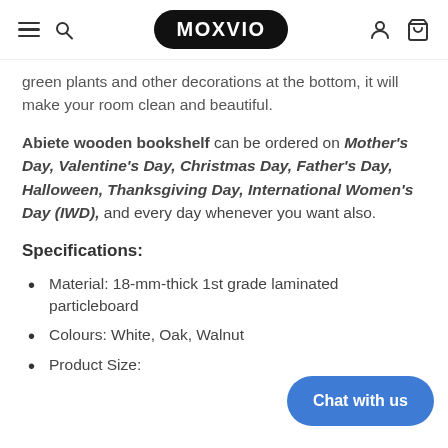MOXVIO
green plants and other decorations at the bottom, it will make your room clean and beautiful.
Abiete wooden bookshelf can be ordered on Mother's Day, Valentine's Day, Christmas Day, Father's Day, Halloween, Thanksgiving Day, International Women's Day (IWD), and every day whenever you want also.
Specifications:
Material: 18-mm-thick 1st grade laminated particleboard
Colours: White, Oak, Walnut
Product Size: